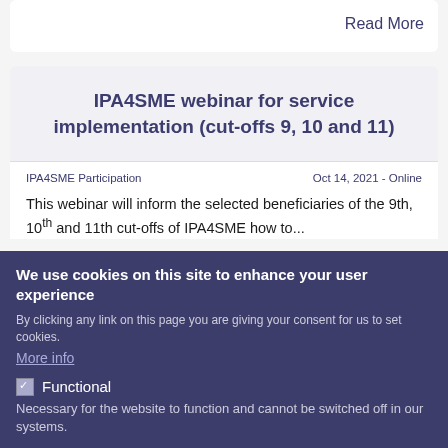Read More
IPA4SME webinar for service implementation (cut-offs 9, 10 and 11)
IPA4SME Participation
Oct 14, 2021 - Online
This webinar will inform the selected beneficiaries of the 9th, 10th and 11th cut-offs of IPA4SME how to...
We use cookies on this site to enhance your user experience
By clicking any link on this page you are giving your consent for us to set cookies.
More info
Functional
Necessary for the website to function and cannot be switched off in our systems.